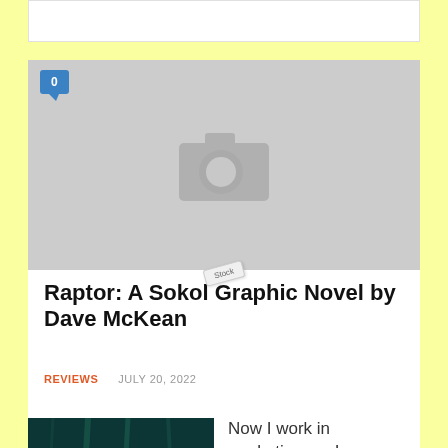[Figure (screenshot): White horizontal bar at top, partial webpage header]
[Figure (photo): Gray placeholder image with camera icon and comment bubble showing 0, with search tag overlay]
Raptor: A Sokol Graphic Novel by Dave McKean
REVIEWS   JULY 20, 2022
[Figure (photo): Book cover thumbnail showing dark forest/nature scene with orange leaves]
Now I work in marketing, so I